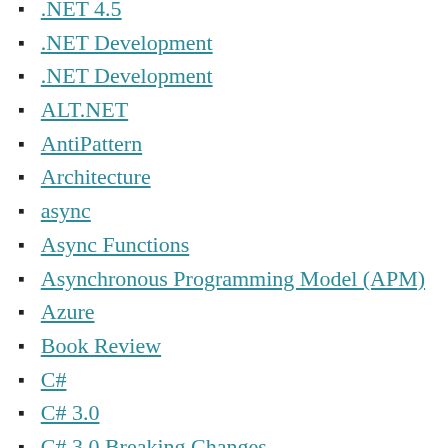.NET 4.5
.NET Development
.NET Development
ALT.NET
AntiPattern
Architecture
async
Async Functions
Asynchronous Programming Model (APM)
Azure
Book Review
C#
C# 3.0
C# 3.0 Breaking Changes
C# 4